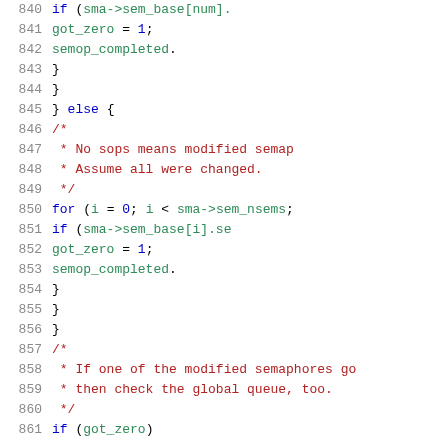[Figure (screenshot): Source code listing showing C code lines 840-860, with line numbers in gray on the left, keywords in blue, comments in dark red, and identifiers in green.]